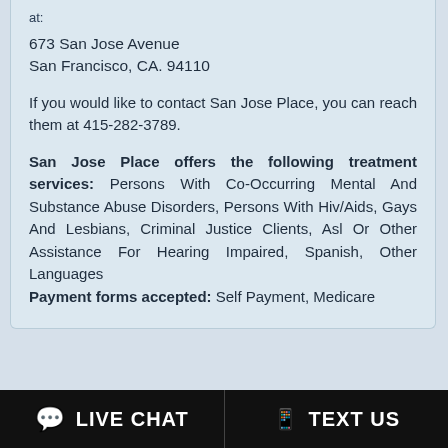at:
673 San Jose Avenue
San Francisco, CA. 94110
If you would like to contact San Jose Place, you can reach them at 415-282-3789.
San Jose Place offers the following treatment services: Persons With Co-Occurring Mental And Substance Abuse Disorders, Persons With Hiv/Aids, Gays And Lesbians, Criminal Justice Clients, Asl Or Other Assistance For Hearing Impaired, Spanish, Other Languages
Payment forms accepted: Self Payment, Medicare
DRUG REHAB BY CITY
Los Angeles
LIVE CHAT
TEXT US